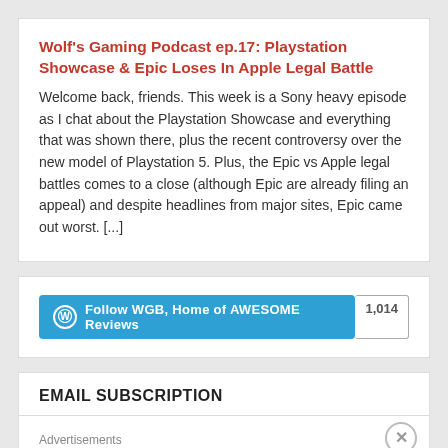Wolf's Gaming Podcast ep.17: Playstation Showcase & Epic Loses In Apple Legal Battle
Welcome back, friends. This week is a Sony heavy episode as I chat about the Playstation Showcase and everything that was shown there, plus the recent controversy over the new model of Playstation 5. Plus, the Epic vs Apple legal battles comes to a close (although Epic are already filing an appeal) and despite headlines from major sites, Epic came out worst. [...]
[Figure (other): Follow WGB, Home of AWESOME Reviews button with follower count 1,014]
EMAIL SUBSCRIPTION
Advertisements